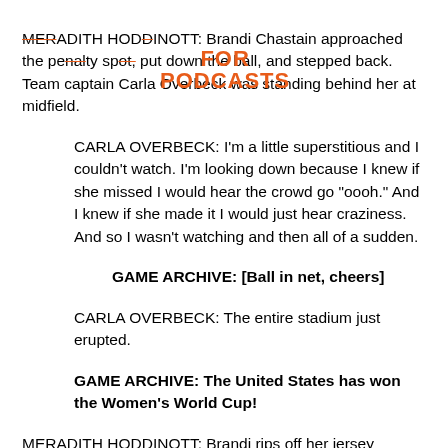MERADITH HODDINOTT: Brandi Chastain approached the penalty spot, put down the ball, and stepped back. Team captain Carla Overbeck was standing behind her at midfield.
CARLA OVERBECK: I'm a little superstitious and I couldn't watch. I'm looking down because I knew if she missed I would hear the crowd go "oooh." And I knew if she made it I would just hear craziness. And so I wasn't watching and then all of a sudden.
GAME ARCHIVE: [Ball in net, cheers]
CARLA OVERBECK: The entire stadium just erupted.
GAME ARCHIVE: The United States has won the Women's World Cup!
MERADITH HODDINOTT: Brandi rips off her jersey